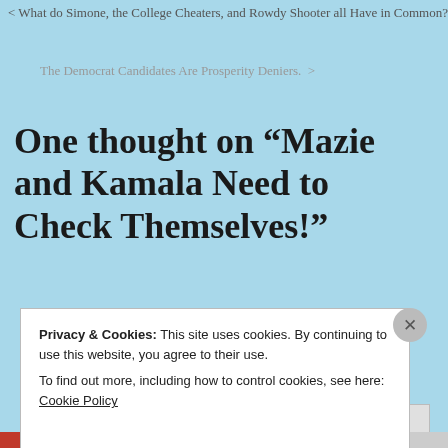What do Simone, the College Cheaters, and Rowdy Shooter all Have in Common?
The Democrat Candidates Are Prosperity Deniers. >
One thought on “Mazie and Kamala Need to Check Themselves!”
Privacy & Cookies: This site uses cookies. By continuing to use this website, you agree to their use.
To find out more, including how to control cookies, see here: Cookie Policy
Close and accept